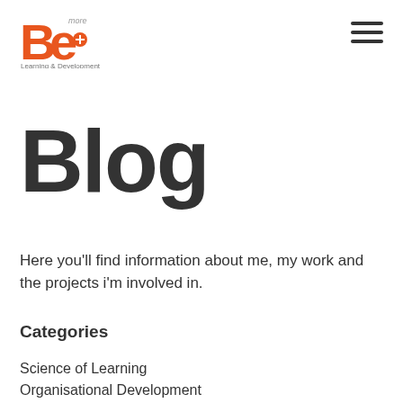Be more Learning & Development
Blog
Here you'll find information about me, my work and the projects i'm involved in.
Categories
Science of Learning
Organisational Development